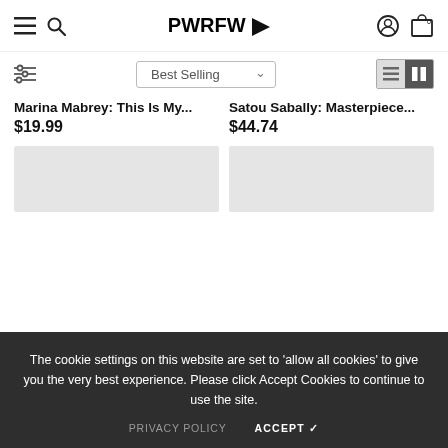PWRFW
Best Selling
Marina Mabrey: This Is My...
$19.99
Satou Sabally: Masterpiece...
$44.74
The cookie settings on this website are set to 'allow all cookies' to give you the very best experience. Please click Accept Cookies to continue to use the site.
PRIVACY POLICY   ACCEPT ✔